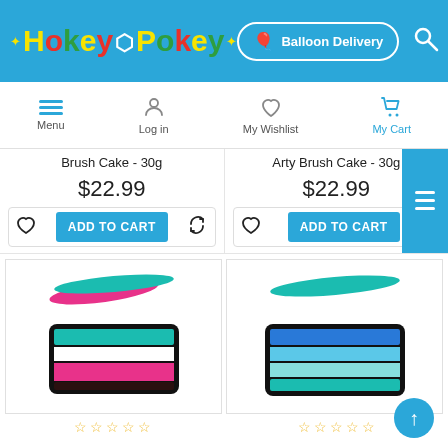[Figure (screenshot): HokeyPokey website header with logo, Balloon Delivery button, and search icon on blue background]
[Figure (screenshot): Navigation bar with Menu, Log in, My Wishlist, My Cart icons]
Brush Cake - 30g
Arty Brush Cake - 30g
$22.99
$22.99
[Figure (photo): Face paint brush cake with pink and teal stripes, paint brush strokes above]
[Figure (photo): Face paint brush cake with blue and teal stripes, paint brush strokes above]